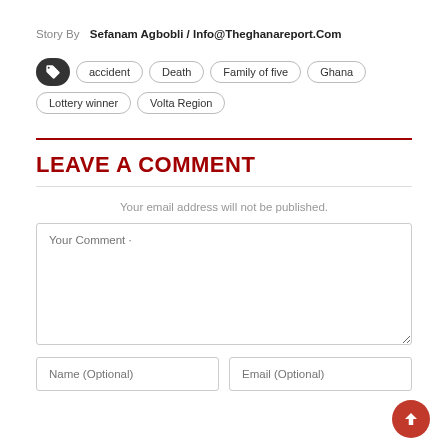Story By  Sefanam Agbobli / Info@Theghanareport.Com
accident
Death
Family of five
Ghana
Lottery winner
Volta Region
LEAVE A COMMENT
Your email address will not be published.
Your Comment
Name (Optional)
Email (Optional)